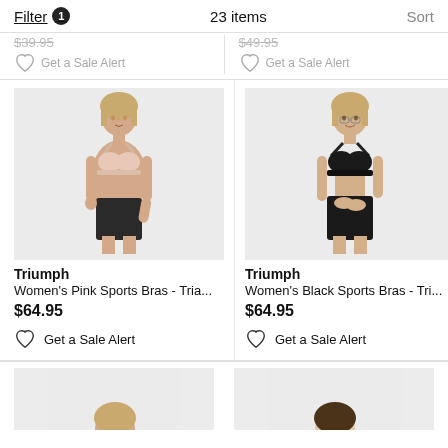Filter 1   23 items   Sort
$39.95   Get a Sale Alert   |   $49.95   Get a Sale Alert
[Figure (photo): Model wearing a pink sports bra with black shorts - Triumph Women's Pink Sports Bras]
Triumph
Women's Pink Sports Bras - Tria...
$64.95
Get a Sale Alert
[Figure (photo): Model wearing a black sports bra with black shorts - Triumph Women's Black Sports Bras]
Triumph
Women's Black Sports Bras - Tri...
$64.95
Get a Sale Alert
[Figure (photo): Partial view of two more product images at the bottom of the page]